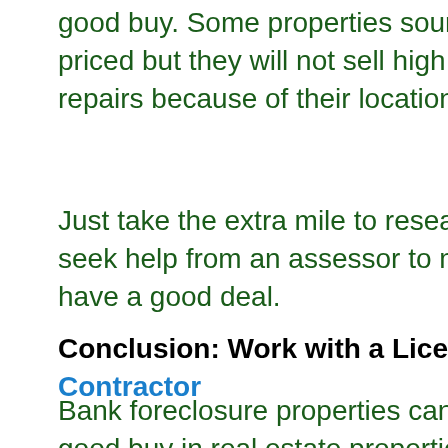good buy. Some properties sound inexpensively priced but they will not sell high as well after repairs because of their location or neighborhood.
Just take the extra mile to research. You may seek help from an assessor to make sure you have a good deal.
Conclusion: Work with a Licensed Broker and Contractor
Bank foreclosure properties can help you get a good buy in real estate properties and save lots of savings. So do not hesitate to utilize this option. Make something good out of this new venture. As a licensed Real Estate Broker